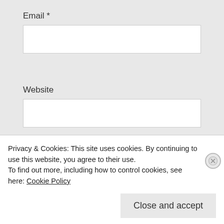Email *
Website
Post Comment
Privacy & Cookies: This site uses cookies. By continuing to use this website, you agree to their use.
To find out more, including how to control cookies, see here: Cookie Policy
Close and accept